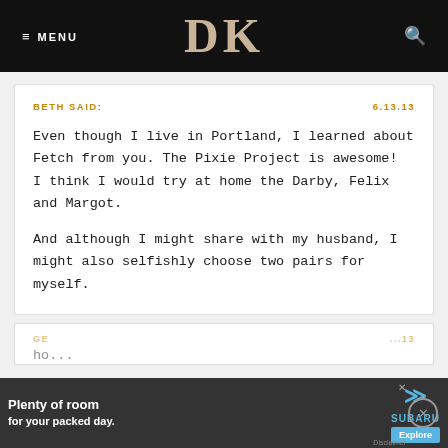MENU | DK
BETH SAID:
6.13.13
Even though I live in Portland, I learned about Fetch from you. The Pixie Project is awesome!
I think I would try at home the Darby, Felix and Margot.

And although I might share with my husband, I might also selfishly choose two pairs for myself.
GE...
...13
[Figure (screenshot): Advertisement banner for Subaru showing car interior with text 'Plenty of room for your packed day.' and Subaru logo with Explore button]